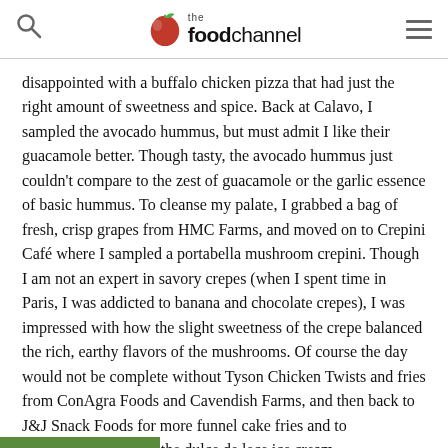the foodchannel
disappointed with a buffalo chicken pizza that had just the right amount of sweetness and spice. Back at Calavo, I sampled the avocado hummus, but must admit I like their guacamole better. Though tasty, the avocado hummus just couldn't compare to the zest of guacamole or the garlic essence of basic hummus. To cleanse my palate, I grabbed a bag of fresh, crisp grapes from HMC Farms, and moved on to Crepini Café where I sampled a portabella mushroom crepini. Though I am not an expert in savory crepes (when I spent time in Paris, I was addicted to banana and chocolate crepes), I was impressed with how the slight sweetness of the crepe balanced the rich, earthy flavors of the mushrooms. Of course the day would not be complete without Tyson Chicken Twists and fries from ConAgra Foods and Cavendish Farms, and then back to J&J Snack Foods for more funnel cake fries and to Dreyer's/Edy's to try the dulce de lece ice cream.
[Figure (photo): Partial green image strip at bottom of page]